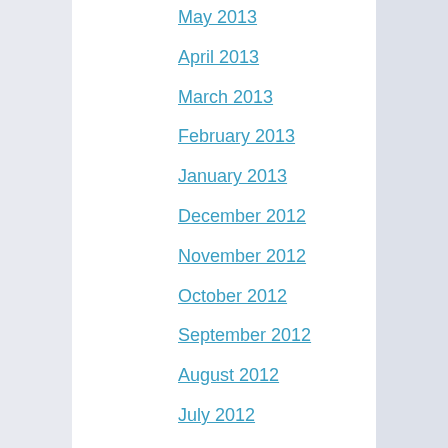May 2013
April 2013
March 2013
February 2013
January 2013
December 2012
November 2012
October 2012
September 2012
August 2012
July 2012
June 2012
May 2012
April 2012
March 2012
February 2012